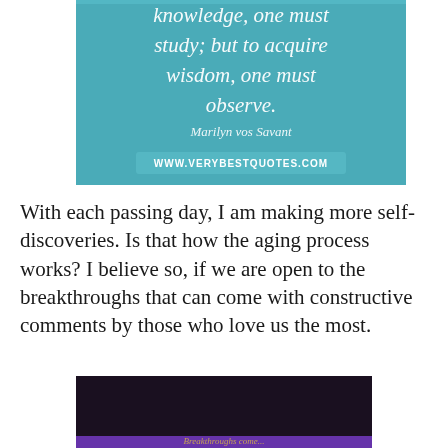[Figure (illustration): Teal/blue background quote image with italic white script text reading: 'knowledge, one must study; but to acquire wisdom, one must observe.' attributed to Marilyn vos Savant, with www.verybestquotes.com at the bottom]
With each passing day, I am making more self-discoveries. Is that how the aging process works? I believe so, if we are open to the breakthroughs that can come with constructive comments by those who love us the most.
[Figure (photo): Dark image with partial text visible at bottom, appears to be another quote image]